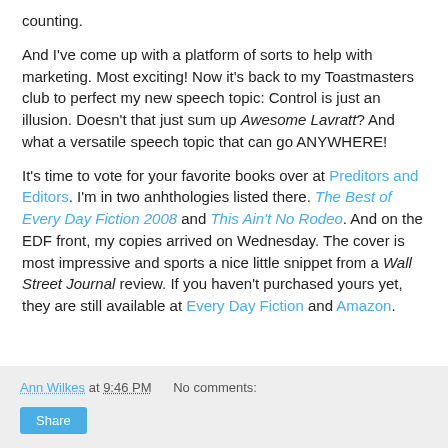counting.
And I've come up with a platform of sorts to help with marketing. Most exciting! Now it's back to my Toastmasters club to perfect my new speech topic: Control is just an illusion. Doesn't that just sum up Awesome Lavratt? And what a versatile speech topic that can go ANYWHERE!
It's time to vote for your favorite books over at Preditors and Editors. I'm in two anhthologies listed there. The Best of Every Day Fiction 2008 and This Ain't No Rodeo. And on the EDF front, my copies arrived on Wednesday. The cover is most impressive and sports a nice little snippet from a Wall Street Journal review. If you haven't purchased yours yet, they are still available at Every Day Fiction and Amazon.
Ann Wilkes at 9:46 PM   No comments:
Share